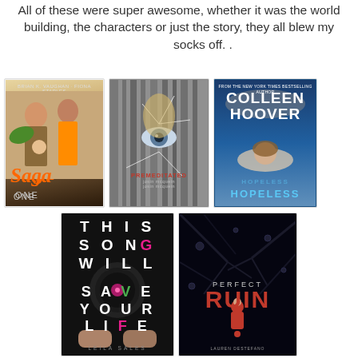All of these were super awesome, whether it was the world building, the characters or just the story, they all blew my socks off. .
[Figure (photo): Book cover of 'Saga' - illustrated comic book cover showing two characters with an orange title]
[Figure (photo): Book cover of 'Premeditated' by Josin McQuein - dark cover with cracked glass and an eye]
[Figure (photo): Book cover of 'Hopeless' by Colleen Hoover - blue cover with title in large letters]
[Figure (photo): Book cover of 'This Song Will Save Your Life' by Leila Sales - dark cover with large white letters]
[Figure (photo): Book cover of 'Perfect Ruin' by Lauren DeStefano - dark cover with red title text and small figure]